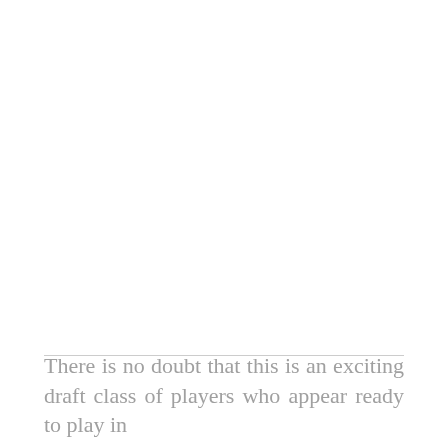There is no doubt that this is an exciting draft class of players who appear ready to play in